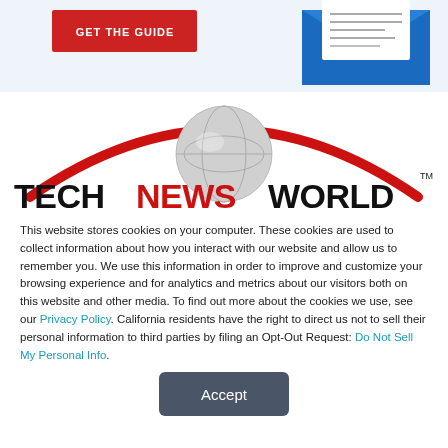[Figure (other): Red 'GET THE GUIDE' button on light blue background with envelope/letter illustration on the right]
[Figure (logo): TechNewsWorld logo: red arc over a metallic globe, bold black text TECH with red NEWS and black WORLD with TM mark]
This website stores cookies on your computer. These cookies are used to collect information about how you interact with our website and allow us to remember you. We use this information in order to improve and customize your browsing experience and for analytics and metrics about our visitors both on this website and other media. To find out more about the cookies we use, see our Privacy Policy. California residents have the right to direct us not to sell their personal information to third parties by filing an Opt-Out Request: Do Not Sell My Personal Info.
Accept